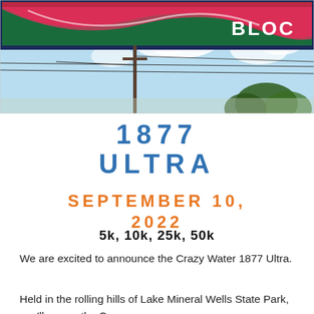[Figure (photo): Partial view of a colorful business sign with green background, pink/red swoosh design, and partial text 'BLOC' visible on the right, against a blue sky with clouds and a utility pole with wires, and trees in the background.]
1877 ULTRA
SEPTEMBER 10, 2022
5k, 10k, 25k, 50k
We are excited to announce the Crazy Water 1877 Ultra.
Held in the rolling hills of Lake Mineral Wells State Park, you'll run on the Cross